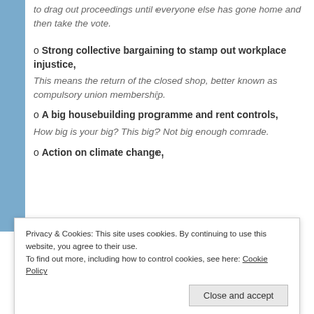to drag out proceedings until everyone else has gone home and then take the vote.
o Strong collective bargaining to stamp out workplace injustice,
This means the return of the closed shop, better known as compulsory union membership.
o A big housebuilding programme and rent controls,
How big is your big? This big? Not big enough comrade.
o Action on climate change,
Privacy & Cookies: This site uses cookies. By continuing to use this website, you agree to their use.
To find out more, including how to control cookies, see here: Cookie Policy
retain the communities' skills,